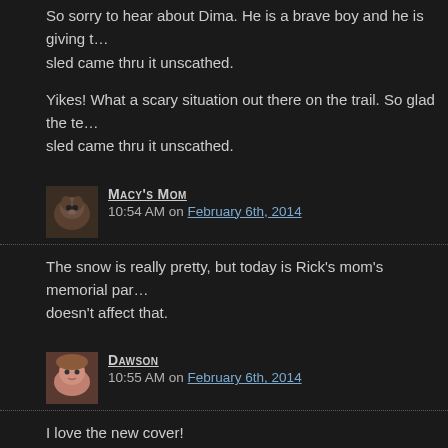So sorry to hear about Dima. He is a brave boy and he is giving t... sled came thru it unscathed.
Yikes! What a scary situation out there on the trail. So glad the te... sled came thru it unscathed.
Macy's mom
10:54 AM on February 6th, 2014
The snow is really pretty, but today is Rick's mom's memorial par... doesn't affect that.
Dawson
10:55 AM on February 6th, 2014
I love the new cover!

Peaceful prayers for Dima.

Bull-dozing prayers for Melanie.

Wonder if Snowbella is still dancing with the giraffes.